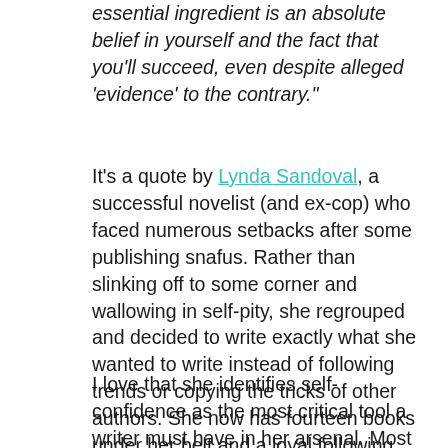essential ingredient is an absolute belief in yourself and the fact that you'll succeed, even despite alleged 'evidence' to the contrary."
It's a quote by Lynda Sandoval, a successful novelist (and ex-cop) who faced numerous setbacks after some publishing snafus. Rather than slinking off to some corner and wallowing in self-pity, she regrouped and decided to write exactly what she wanted to write instead of following trends or copying the tricks of other authors. She now has fourteen books under her belt and a loyal following, not to mention a few awards for her work.
I love that she identifies self-confidence as the most critical tool a writer must have in her arsenal. Most of all, I love that she eschews the very tempting and lucrative path of